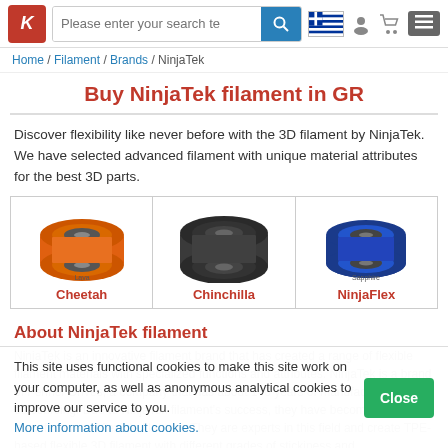Please enter your search te [search bar] [flag icon] [user icon] [cart icon] [menu icon]
Home / Filament / Brands / NinjaTek
Buy NinjaTek filament in GR
Discover flexibility like never before with the 3D filament by NinjaTek. We have selected advanced filament with unique material attributes for the best 3D parts.
[Figure (photo): Three product cards showing filament spools: Cheetah (orange spool, labeled Lava), Chinchilla (black spool), NinjaFlex (blue spool, labeled Sapphire)]
About NinjaTek filament
NinjaTek is an innovative filament brand that has created a range of flexible filament materials with specialized functions and attributes. NinjaTek is a brand of Fenner Drives, a company that has about 140 years of manufacturing and outsourcing. Due to NinjaTek filament's success, they have become a leading manufacturer of flexible filament. They are experts in this field and create TPE-based flexible 3D filament with different grades of stickiness and
This site uses functional cookies to make this site work on your computer, as well as anonymous analytical cookies to improve our service to you. More information about cookies.